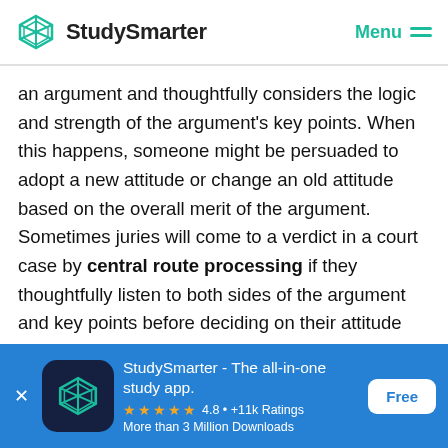StudySmarter   Menu
an argument and thoughtfully considers the logic and strength of the argument's key points. When this happens, someone might be persuaded to adopt a new attitude or change an old attitude based on the overall merit of the argument. Sometimes juries will come to a verdict in a court case by central route processing if they thoughtfully listen to both sides of the argument and key points before deciding on their attitude towards the case verdict. They also have to separate personal biases and attitudes toward the case from their judgment of a person's guilt or innocence. Attitudes toward certain
[Figure (other): StudySmarter app advertisement banner with logo, star rating 4.8 +11k Ratings, More than 3 Million Downloads, and Free button]